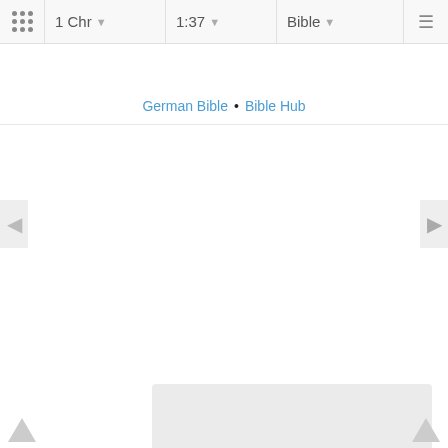1 Chr  1:37  Bible
German Bible • Bible Hub